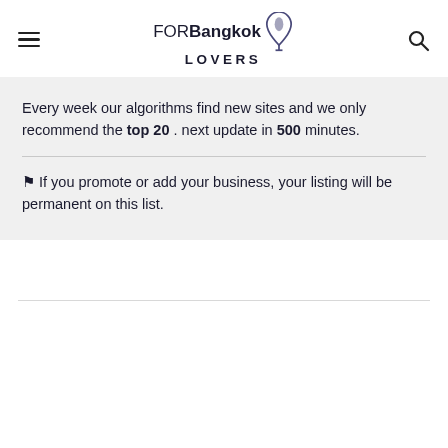FORBangkok LOVERS
Every week our algorithms find new sites and we only recommend the top 20 . next update in 500 minutes.
⚑ If you promote or add your business, your listing will be permanent on this list.